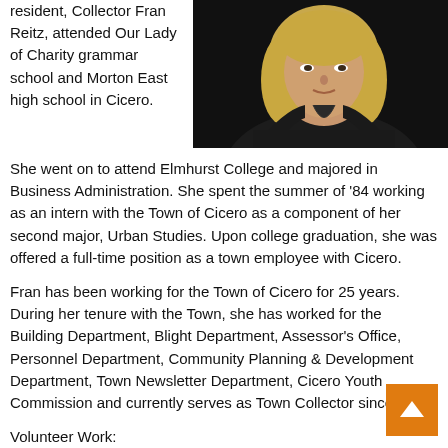resident, Collector Fran Reitz, attended Our Lady of Charity grammar school and Morton East high school in Cicero.
[Figure (photo): Portrait photo of a woman with blonde hair wearing a dark jacket, against a dark background.]
She went on to attend Elmhurst College and majored in Business Administration. She spent the summer of '84 working as an intern with the Town of Cicero as a component of her second major, Urban Studies. Upon college graduation, she was offered a full-time position as a town employee with Cicero.
Fran has been working for the Town of Cicero for 25 years. During her tenure with the Town, she has worked for the Building Department, Blight Department, Assessor's Office, Personnel Department, Community Planning & Development Department, Town Newsletter Department, Cicero Youth Commission and currently serves as Town Collector since '04.
Volunteer Work: